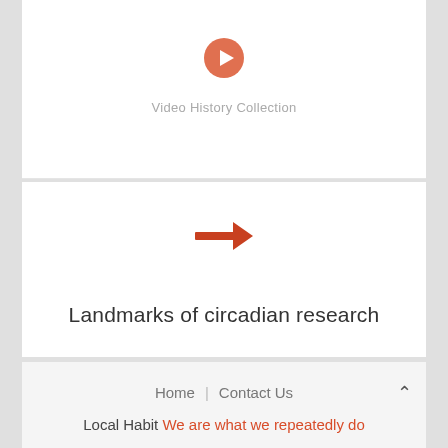[Figure (illustration): Orange/salmon play button circle icon]
Video History Collection
[Figure (illustration): Red/orange rightward arrow icon]
Landmarks of circadian research
Home | Contact Us
Local Habit We are what we repeatedly do